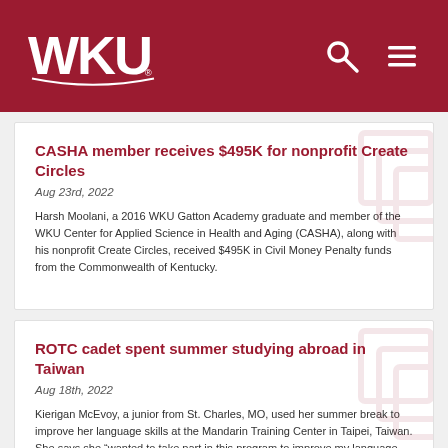WKU
CASHA member receives $495K for nonprofit Create Circles
Aug 23rd, 2022
Harsh Moolani, a 2016 WKU Gatton Academy graduate and member of the WKU Center for Applied Science in Health and Aging (CASHA), along with his nonprofit Create Circles, received $495K in Civil Money Penalty funds from the Commonwealth of Kentucky.
ROTC cadet spent summer studying abroad in Taiwan
Aug 18th, 2022
Kierigan McEvoy, a junior from St. Charles, MO, used her summer break to improve her language skills at the Mandarin Training Center in Taipei, Taiwan. She says she “wanted to take part in this program to improve my language speaking and listening.